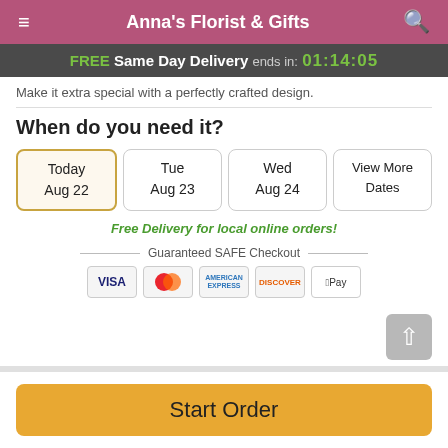Anna's Florist & Gifts
FREE Same Day Delivery ends in: 01:14:05
Make it extra special with a perfectly crafted design.
When do you need it?
Today Aug 22
Tue Aug 23
Wed Aug 24
View More Dates
Free Delivery for local online orders!
Guaranteed SAFE Checkout
[Figure (other): Payment method icons: VISA, Mastercard, American Express, Discover, Apple Pay]
Start Order